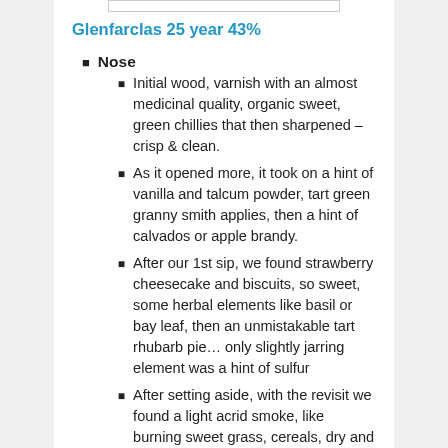Glenfarclas 25 year 43%
Nose
Initial wood, varnish with an almost medicinal quality, organic sweet, green chillies that then sharpened – crisp & clean.
As it opened more, it took on a hint of vanilla and talcum powder, tart green granny smith applies, then a hint of calvados or apple brandy.
After our 1st sip, we found strawberry cheesecake and biscuits, so sweet, some herbal elements like basil or bay leaf, then an unmistakable tart rhubarb pie… only slightly jarring element was a hint of sulfur
After setting aside, with the revisit we found a light acrid smoke, like burning sweet grass, cereals, dry and a bit dusty, yet still retaining that green grass quality
Palate